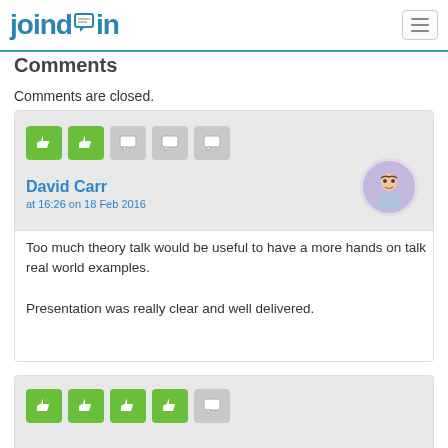joind.in
Comments
Comments are closed.
David Carr
at 16:26 on 18 Feb 2016
Too much theory talk would be useful to have a more hands on talk real world examples.

Presentation was really clear and well delivered.